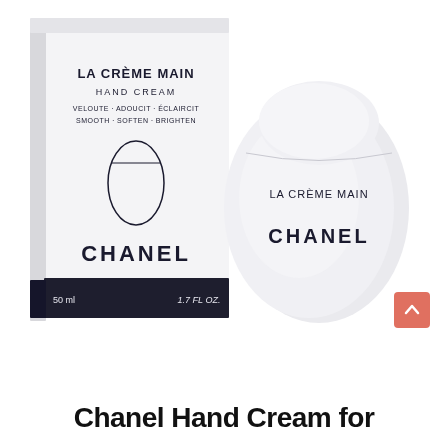[Figure (photo): Product photo of Chanel La Crème Main Hand Cream. On the left is a white rectangular box with text 'LA CRÈME MAIN HAND CREAM VELOUTE·ADOUCIT·ECLAIRCIT SMOOTH·SOFTEN·BRIGHTEN' and an oval outline illustration, with 'CHANEL' in large bold letters, and at the bottom a dark navy band reading '50 ml' and '1.7 FL OZ.' On the right is the actual white oval-shaped cream dispenser bottle with 'LA CRÈME MAIN' and 'CHANEL' printed on it. Background is white.]
Chanel Hand Cream for